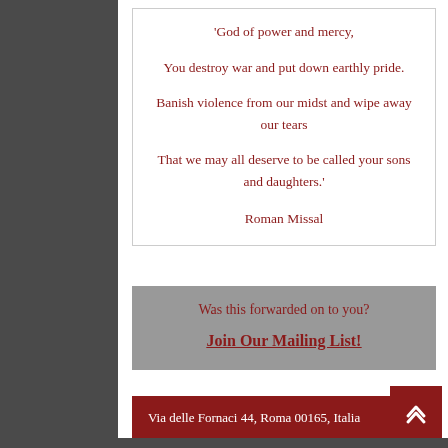'God of power and mercy,

You destroy war and put down earthly pride.

Banish violence from our midst and wipe away our tears

That we may all deserve to be called your sons and daughters.'

Roman Missal
Was this forwarded on to you?
Join Our Mailing List!
Via delle Fornaci 44, Roma 00165, Italia